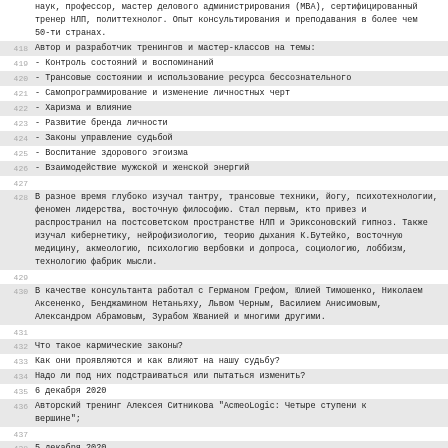наук, профессор, мастер делового администрирования (MBA), сертифицированный тренер НЛП, политтехнолог. Опыт консультирования и преподавания в более чем 50-ти странах.
418  Автор и разработчик тренингов и мастер-классов на темы:
419  - Контроль состояний и воспоминаний
420  - Трансовые состоянии и использование ресурса бессознательного
421  - Самопрограммирование и изменение личностных черт
422  - Харизма и влияние
423  - Развитие бренда личности
424  - Законы управление судьбой
425  - Воспитание здорового эгоизма
426  - Взаимодействие мужской и женской энергий
427
428  В разное время глубоко изучал тантру, трансовые техники, йогу, психотехнологии, феномен лидерства, восточную философию. Стал первым, кто привез и распространил на постсоветском пространстве НЛП и Эриксоновский гипноз. Также изучал кибернетику, нейрофизиологию, теорию дыхания К.Бутейко, восточную медицину, акмеологию, психологию вербовки и допроса, социологию, лоббизм, технологию фабрик мысли.
429
430  В качестве консультанта работал с Германом Грефом, Юлией Тимошенко, Николаем Аксененко, Бенджамином Нетаньяху, Львом Черным, Василием Анисимовым, Александром Абрамовым, Зурабом Жванией и многими другими.
431
432  Что такое кармические законы?
433  Как они проявляются и как влияют на нашу судьбу?
434  Надо ли под них подстраиваться или пытаться изменить?
435  6 декабря 2020
436  Авторский тренинг Алексея Ситникова &quot;AcmeoLogic: Четыре ступени к вершине&quot;;
437
438  5 декабря 2020